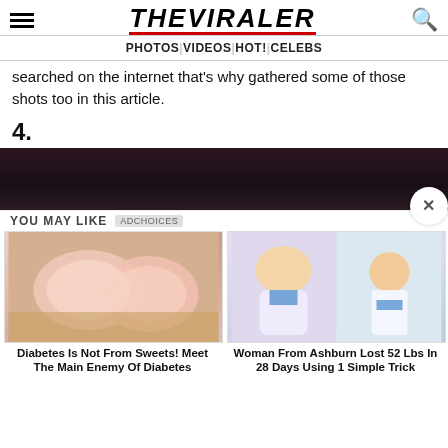THE VIRALER — PHOTOS | VIDEOS | HOT! | CELEBS
searched on the internet that's why gathered some of those shots too in this article.
4.
[Figure (photo): Dark background image, partially visible]
YOU MAY LIKE
Diabetes Is Not From Sweets! Meet The Main Enemy Of Diabetes
Woman From Ashburn Lost 52 Lbs In 28 Days Using 1 Simple Trick